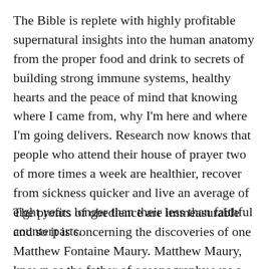The Bible is replete with highly profitable supernatural insights into the human anatomy from the proper food and drink to secrets of building strong immune systems, healthy hearts and the peace of mind that knowing where I came from, why I'm here and where I'm going delivers. Research now knows that people who attend their house of prayer two of more times a week are healthier, recover from sickness quicker and live an average of eight years longer than their less than faithful counterparts.
The profits of obedience are immeasurable and so it is concerning the discoveries of one Matthew Fontaine Maury. Matthew Maury, known as the father of oceanography was a U.S. Navy officer